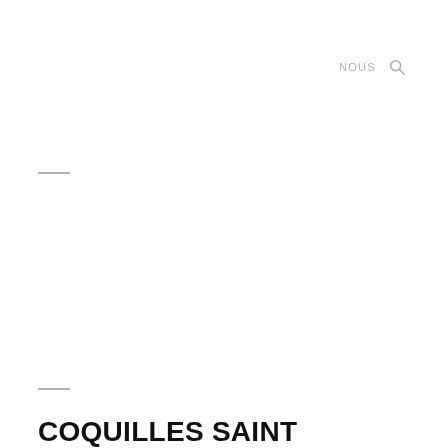NOUS
COQUILLES SAINT JACQUES, PLAT TYPIQUE DU CHILI